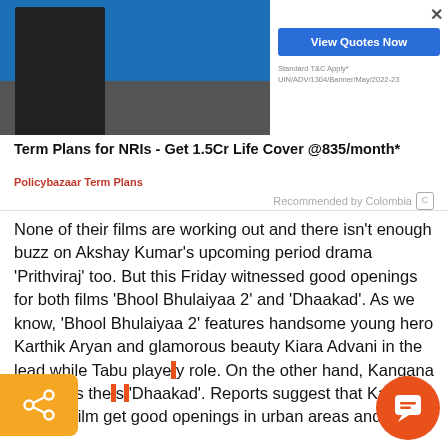[Figure (advertisement): Ad banner for Policybazaar Term Plans - shows a person in black, 'View Quotes Now' button, text 'Term Plans for NRIs - Get 1.5Cr Life Cover @835/month*', source 'Policybazaar Term Plans', 'Recommended by Colombia' with close X button]
None of their films are working out and there isn't enough buzz on Akshay Kumar's upcoming period drama 'Prithviraj' too. But this Friday witnessed good openings for both films 'Bhool Bhulaiyaa 2' and 'Dhaakad'. As we know, 'Bhool Bhulaiyaa 2' features handsome young hero Karthik Aryan and glamorous beauty Kiara Advani in the lead while Tabu plays key role. On the other hand, Kangana Ranaut is the star of 'Dhaakad'. Reports suggest that Karthik Aryan's film get good openings in urban areas and
[Figure (other): Orange share button with share icon on left side]
[Figure (other): Orange circular chat/comment button on bottom right]